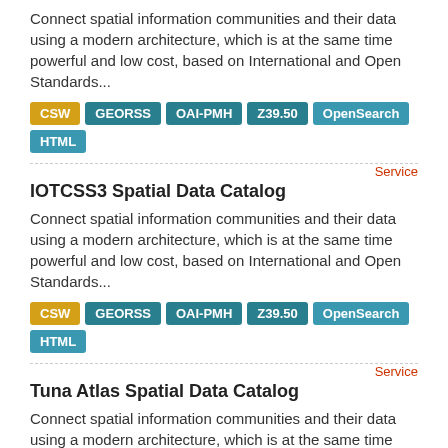Connect spatial information communities and their data using a modern architecture, which is at the same time powerful and low cost, based on International and Open Standards...
CSW GEORSS OAI-PMH Z39.50 OpenSearch HTML
Service
IOTCSS3 Spatial Data Catalog
Connect spatial information communities and their data using a modern architecture, which is at the same time powerful and low cost, based on International and Open Standards...
CSW GEORSS OAI-PMH Z39.50 OpenSearch HTML
Service
Tuna Atlas Spatial Data Catalog
Connect spatial information communities and their data using a modern architecture, which is at the same time powerful and low cost, based on International and Open Standards...
CSW GEORSS OAI-PMH Z39.50 OpenSearch HTML